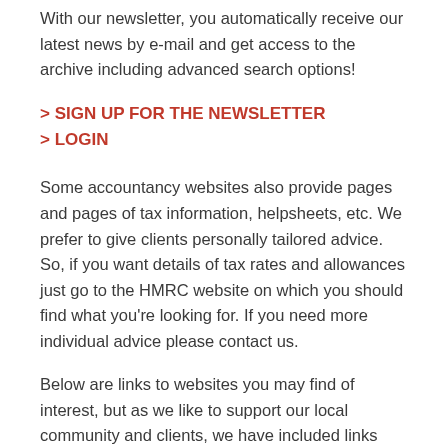With our newsletter, you automatically receive our latest news by e-mail and get access to the archive including advanced search options!
> SIGN UP FOR THE NEWSLETTER
> LOGIN
Some accountancy websites also provide pages and pages of tax information, helpsheets, etc. We prefer to give clients personally tailored advice. So, if you want details of tax rates and allowances just go to the HMRC website on which you should find what you're looking for. If you need more individual advice please contact us.
Below are links to websites you may find of interest, but as we like to support our local community and clients, we have included links